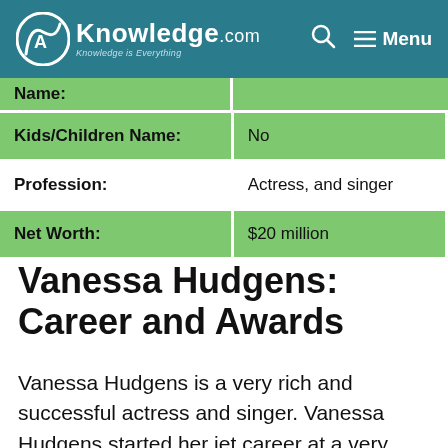AKnowledge.com — Knowledge is Everything | Menu
| Field | Value |
| --- | --- |
| Name: |  |
| Kids/Children Name: | No |
| Profession: | Actress, and singer |
| Net Worth: | $20 million |
Vanessa Hudgens: Career and Awards
Vanessa Hudgens is a very rich and successful actress and singer. Vanessa Hudgens started her jet career at a very early age. She also belongs to a family of